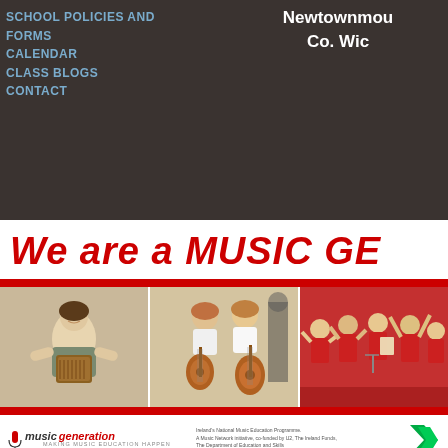SCHOOL POLICIES AND FORMS
CALENDAR
CLASS BLOGS
CONTACT
Newtownmou Co. Wic
We are a MUSIC GE
[Figure (photo): Three photos: a woman holding an accordion, two boys playing guitar/ukulele, and children in red performing on stage]
music generation — MAKING MUSIC EDUCATION HAPPEN
Ireland's National Music Education Programme. A Music Network initiative, co-funded by U2, The Ireland Funds, The Department of Education and Skills and Local Music Education Partnerships